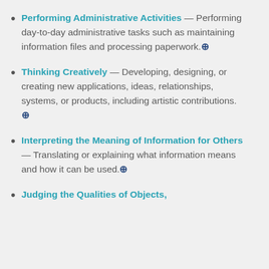Performing Administrative Activities — Performing day-to-day administrative tasks such as maintaining information files and processing paperwork.
Thinking Creatively — Developing, designing, or creating new applications, ideas, relationships, systems, or products, including artistic contributions.
Interpreting the Meaning of Information for Others — Translating or explaining what information means and how it can be used.
Judging the Qualities of Objects,